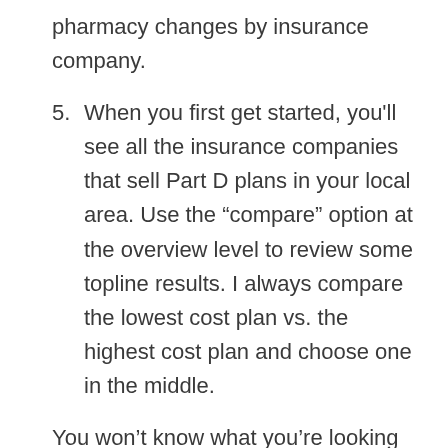pharmacy changes by insurance company.
5. When you first get started, you'll see all the insurance companies that sell Part D plans in your local area. Use the “compare” option at the overview level to review some topline results. I always compare the lowest cost plan vs. the highest cost plan and choose one in the middle.
You won’t know what you’re looking for at first. But keep digging and eventually you’ll surface from the quicksand you’re in. It’s at